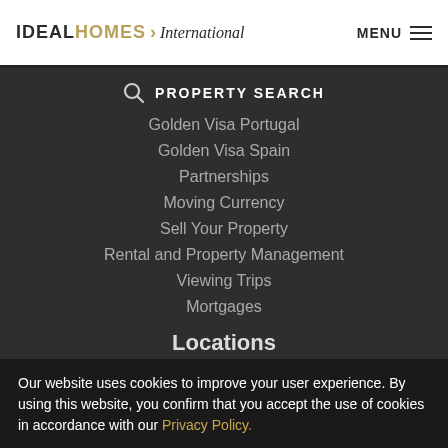IDEAL HOMES International — MENU
PROPERTY SEARCH
Golden Visa Portugal
Golden Visa Spain
Partnerships
Moving Currency
Sell Your Property
Rental and Property Management
Viewing Trips
Mortgages
Locations
Alicante
Costa Blanca
Our website uses cookies to improve your user experience. By using this website, you confirm that you accept the use of cookies in accordance with our Privacy Policy.